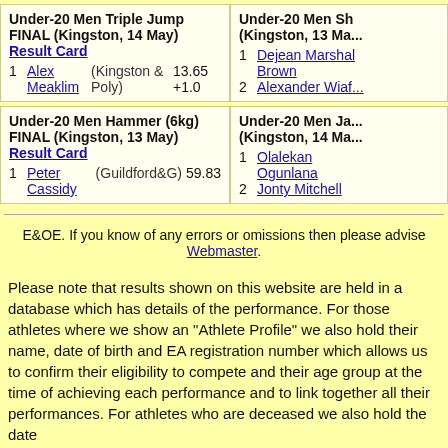| Under-20 Men Triple Jump FINAL (Kingston, 14 May) Result Card | Under-20 Men Sh... (Kingston, 13 Ma... |
| 1  Alex Meaklim  (Kingston & Poly)  13.65 +1.0 | 1  Dejean Marshal Brown
2  Alexander Wiaf... |
| Under-20 Men Hammer (6kg) FINAL (Kingston, 13 May) Result Card | Under-20 Men Ja... (Kingston, 14 Ma... |
| 1  Peter Cassidy  (Guildford&G)  59.83 | 1  Olalekan Ogunlana
2  Jonty Mitchell |
E&OE. If you know of any errors or omissions then please advise Webmaster.
Please note that results shown on this website are held in a database which has details of the performance. For those athletes where we show an "Athlete Profile" we also hold their name, date of birth and EA registration number which allows us to confirm their eligibility to compete and their age group at the time of achieving each performance and to link together all their performances. For athletes who are deceased we also hold the date